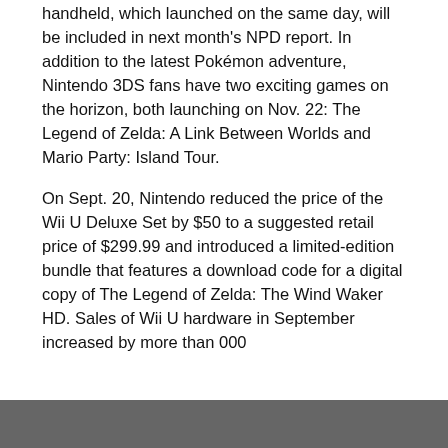handheld, which launched on the same day, will be included in next month's NPD report. In addition to the latest Pokémon adventure, Nintendo 3DS fans have two exciting games on the horizon, both launching on Nov. 22: The Legend of Zelda: A Link Between Worlds and Mario Party: Island Tour.
On Sept. 20, Nintendo reduced the price of the Wii U Deluxe Set by $50 to a suggested retail price of $299.99 and introduced a limited-edition bundle that features a download code for a digital copy of The Legend of Zelda: The Wind Waker HD. Sales of Wii U hardware in September increased by more than 000...